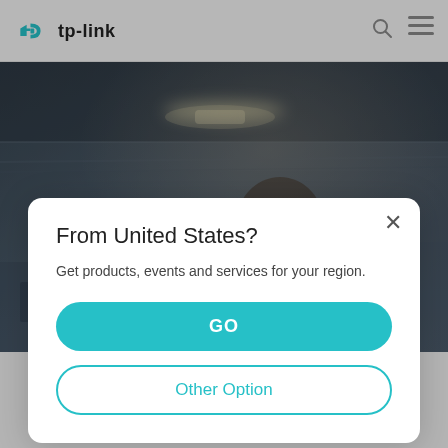tp-link
[Figure (photo): Background photo of a person in an industrial warehouse or factory setting, with ceiling lights visible. The image is partially obscured by a modal dialog.]
From United States?
Get products, events and services for your region.
GO
Other Option
Search for Products, FAQs
Enter model number or keywords of your question
Statement on Apache Log4j2 Vulnerability